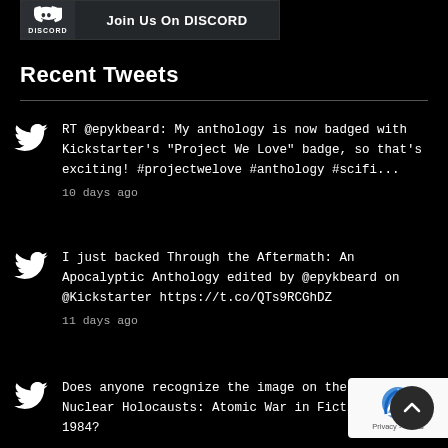[Figure (screenshot): Discord banner with icon and 'Join Us On DISCORD' text]
Recent Tweets
RT @epykbeard: My anthology is now badged with Kickstarter's "Project We Love" badge, so that's exciting! #projectwelove #anthology #scifi...
10 days ago
I just backed Through the Aftermath: An Apocalyptic Anthology edited by @epykbeard on @Kickstarter https://t.co/QTs9RCGhDZ
11 days ago
Does anyone recognize the image on the cover of Nuclear Holocausts: Atomic War in Fiction, 1895-1984?